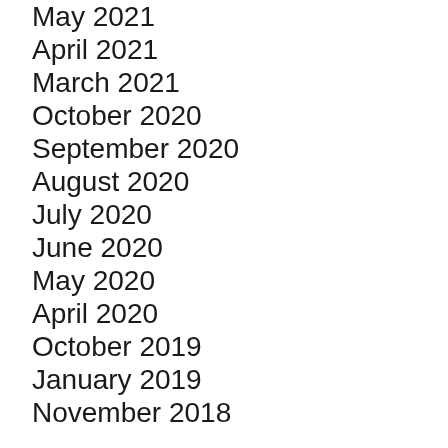May 2021
April 2021
March 2021
October 2020
September 2020
August 2020
July 2020
June 2020
May 2020
April 2020
October 2019
January 2019
November 2018